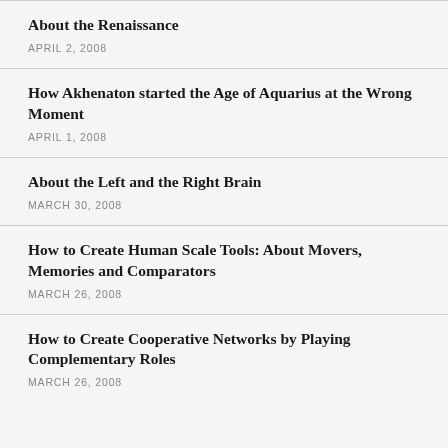About the Renaissance
APRIL 2, 2008
How Akhenaton started the Age of Aquarius at the Wrong Moment
APRIL 1, 2008
About the Left and the Right Brain
MARCH 30, 2008
How to Create Human Scale Tools: About Movers, Memories and Comparators
MARCH 26, 2008
How to Create Cooperative Networks by Playing Complementary Roles
MARCH 26, 2008